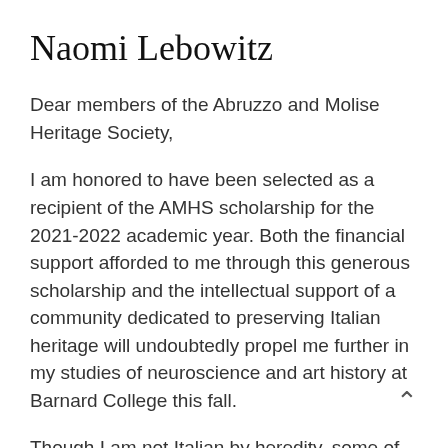Naomi Lebowitz
Dear members of the Abruzzo and Molise Heritage Society,
I am honored to have been selected as a recipient of the AMHS scholarship for the 2021-2022 academic year. Both the financial support afforded to me through this generous scholarship and the intellectual support of a community dedicated to preserving Italian heritage will undoubtedly propel me further in my studies of neuroscience and art history at Barnard College this fall.
Though I am not Italian by heredity, some of the first words I comprehended as a child were in my